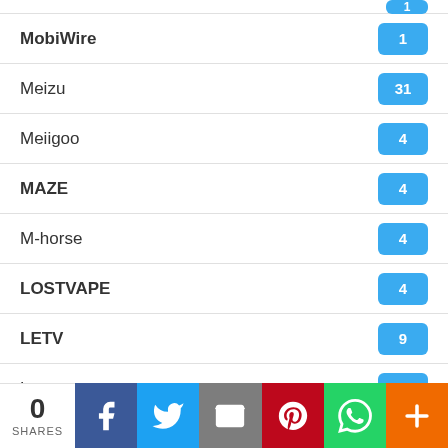MobiWire — 1
Meizu — 31
Meiigoo — 4
MAZE — 4
M-horse — 4
LOSTVAPE — 4
LETV — 9
Lenovo — 54
Leagoo — 21
KOOLNEE — 1
KINGZONE — 1
Jumper — 3
0 SHARES | Facebook | Twitter | Email | Pinterest | WhatsApp | More